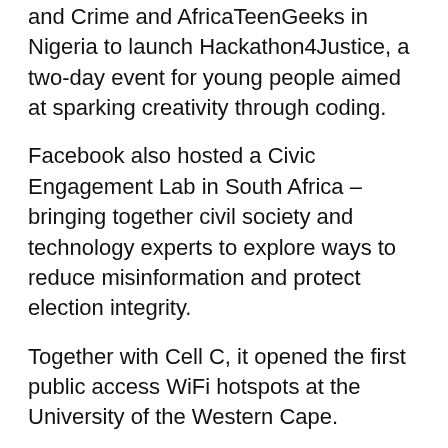and Crime and AfricaTeenGeeks in Nigeria to launch Hackathon4Justice, a two-day event for young people aimed at sparking creativity through coding.
Facebook also hosted a Civic Engagement Lab in South Africa – bringing together civil society and technology experts to explore ways to reduce misinformation and protect election integrity.
Together with Cell C, it opened the first public access WiFi hotspots at the University of the Western Cape.
“We also undertook a university tour in South Africa, aimed at boosting recruitment from across the region and partnered with the Dream Factory Foundation and Facebook Community Leadership Programme Youth Fellow, Nadine Maselle, to open a computer lab at Salt River High School in Cape Town.
“We also believe this is part of our broader mission